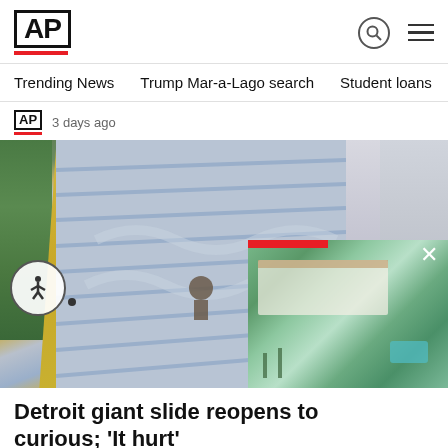AP
Trending News   Trump Mar-a-Lago search   Student loans   U.S.
AP  3 days ago
[Figure (photo): Large outdoor metal slide with wooden sides, viewed from bottom looking up. People visible at the top. An inset aerial photo of Mar-a-Lago estate appears in the bottom-right corner.]
Detroit giant slide reopens to curious; 'It hurt'